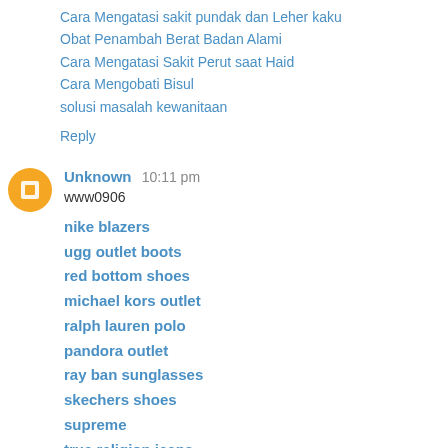Cara Mengatasi sakit pundak dan Leher kaku
Obat Penambah Berat Badan Alami
Cara Mengatasi Sakit Perut saat Haid
Cara Mengobati Bisul
solusi masalah kewanitaan
Reply
Unknown  10:11 pm
www0906
nike blazers
ugg outlet boots
red bottom shoes
michael kors outlet
ralph lauren polo
pandora outlet
ray ban sunglasses
skechers shoes
supreme
true religion jeans